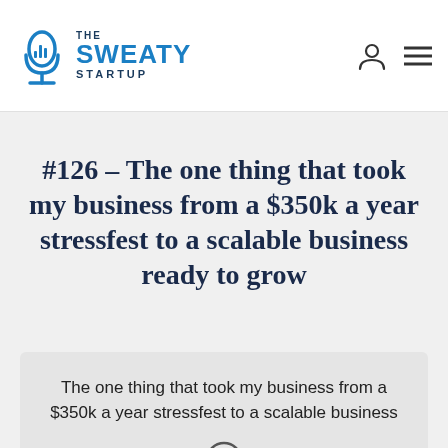The Sweaty Startup
#126 – The one thing that took my business from a $350k a year stressfest to a scalable business ready to grow
The one thing that took my business from a $350k a year stressfest to a scalable business